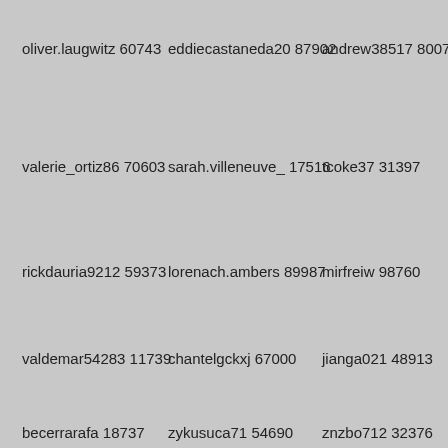oliver.laugwitz 60743
eddiecastaneda20 87902
andrew38517 80077
valerie_ortiz86 70603
sarah.villeneuve_ 17516
tcoke37 31397
rickdauria9212 59373
lorenach.ambers 89987
mirfreiw 98760
valdemar54283 11739
chantelgckxj 67000
jianga021 48913
becerrarafa 18737
zykusuca71 54690
znzbo712 32376